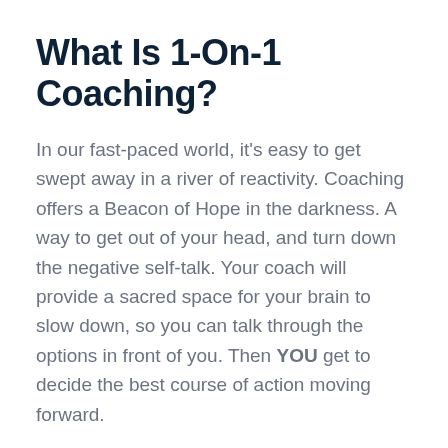What Is 1-On-1 Coaching?
In our fast-paced world, it's easy to get swept away in a river of reactivity. Coaching offers a Beacon of Hope in the darkness. A way to get out of your head, and turn down the negative self-talk. Your coach will provide a sacred space for your brain to slow down, so you can talk through the options in front of you. Then YOU get to decide the best course of action moving forward.